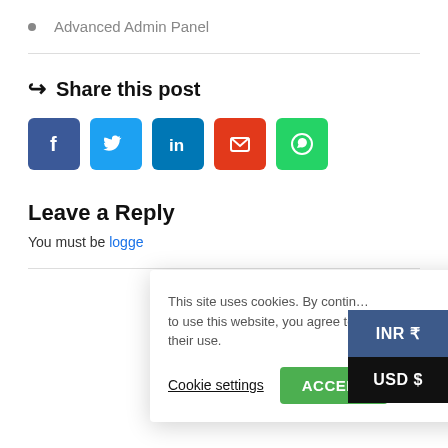Advanced Admin Panel
Share this post
[Figure (infographic): Social share buttons: Facebook (blue), Twitter (light blue), LinkedIn (dark blue), Email (red/orange), WhatsApp (green)]
Leave a Reply
You must be logged
This site uses cookies. By continuing to use this website, you agree to their use.
Cookie settings  ACCEPT
INR ₹  USD $